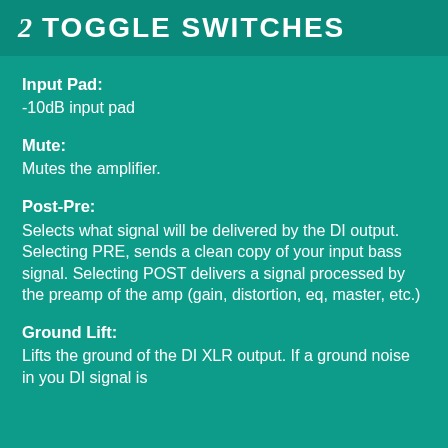2 TOGGLE SWITCHES
Input Pad: -10dB input pad
Mute: Mutes the amplifier.
Post-Pre: Selects what signal will be delivered by the DI output. Selecting PRE, sends a clean copy of your input bass signal. Selecting POST delivers a signal processed by the preamp of the amp (gain, distortion, eq, master, etc.)
Ground Lift: Lifts the ground of the DI XLR output. If a ground noise in you DI signal is